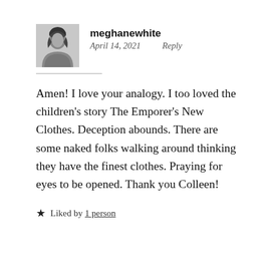[Figure (photo): Black and white profile photo of a woman]
meghanewhite
April 14, 2021   Reply
Amen! I love your analogy. I too loved the children's story The Emporer's New Clothes. Deception abounds. There are some naked folks walking around thinking they have the finest clothes. Praying for eyes to be opened. Thank you Colleen!
★ Liked by 1 person